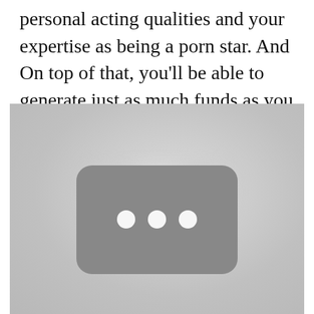personal acting qualities and your expertise as being a porn star. And On top of that, you'll be able to generate just as much funds as you wish.
[Figure (illustration): A greyscale image showing a rounded rectangle card/button with three white dots (ellipsis) centered on it, on a light grey background. The card has a subtle shadow and the background has a radial gradient.]